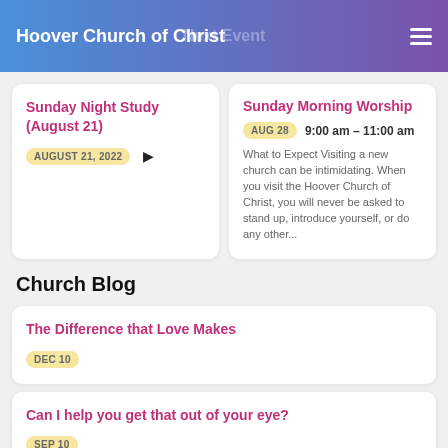Hoover Church of Christ
Next Event
Sunday Night Study (August 21)
AUGUST 21, 2022
Sunday Morning Worship
AUG 28   9:00 am – 11:00 am
What to Expect Visiting a new church can be intimidating. When you visit the Hoover Church of Christ, you will never be asked to stand up, introduce yourself, or do any other...
Church Blog
The Difference that Love Makes
DEC 10
Can I help you get that out of your eye?
SEP 10